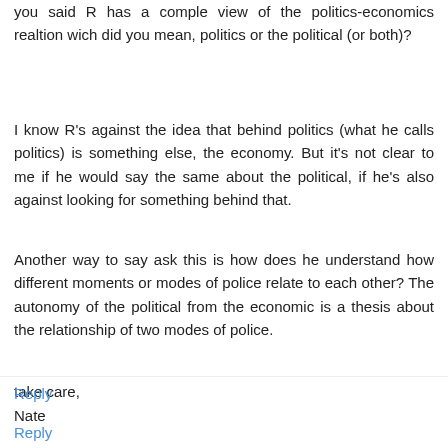you said R has a comple view of the politics-economics realtion wich did you mean, politics or the political (or both)?
I know R's against the idea that behind politics (what he calls politics) is something else, the economy. But it's not clear to me if he would say the same about the political, if he's also against looking for something behind that.
Another way to say ask this is how does he understand how different moments or modes of police relate to each other? The autonomy of the political from the economic is a thesis about the relationship of two modes of police.
take care,
Nate
Reply
unemployed negativity  7:15 PM
Nate,